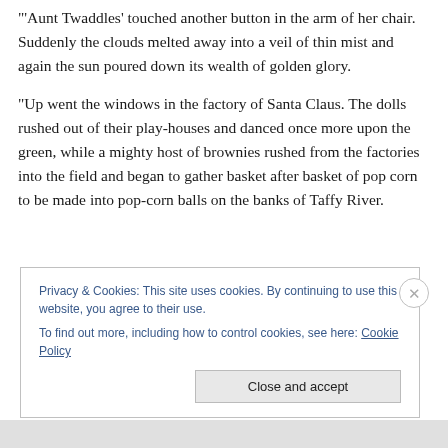"'Aunt Twaddles' touched another button in the arm of her chair. Suddenly the clouds melted away into a veil of thin mist and again the sun poured down its wealth of golden glory.
"Up went the windows in the factory of Santa Claus. The dolls rushed out of their play-houses and danced once more upon the green, while a mighty host of brownies rushed from the factories into the field and began to gather basket after basket of pop corn to be made into pop-corn balls on the banks of Taffy River.
Privacy & Cookies: This site uses cookies. By continuing to use this website, you agree to their use.
To find out more, including how to control cookies, see here: Cookie Policy